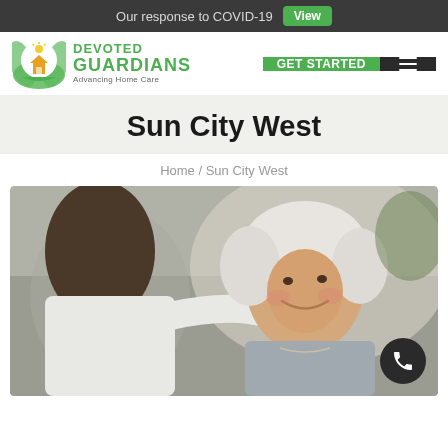Our response to COVID-19  View
[Figure (logo): Devoted Guardians Advancing Home Care logo with circular green leaf and house icon]
GET STARTED
Sun City West
Home / Sun City West
[Figure (photo): A caregiver with dark hair placing a hand on the shoulder of a smiling elderly woman with white hair, indoor setting, warm tones]